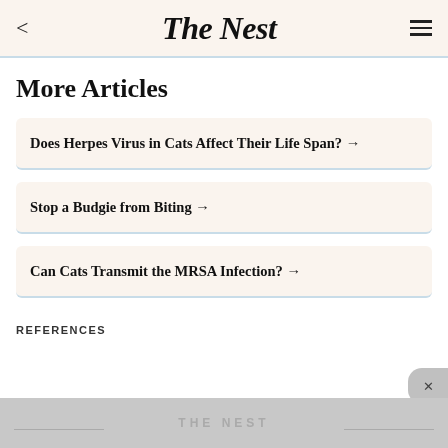The Nest
More Articles
Does Herpes Virus in Cats Affect Their Life Span? →
Stop a Budgie from Biting →
Can Cats Transmit the MRSA Infection? →
REFERENCES
THE NEST